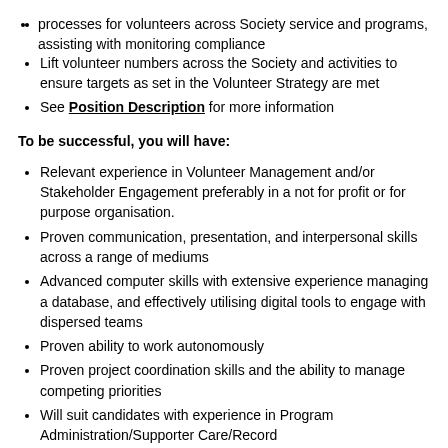processes for volunteers across Society service and programs, assisting with monitoring compliance
Lift volunteer numbers across the Society and activities to ensure targets as set in the Volunteer Strategy are met
See Position Description for more information
To be successful, you will have:
Relevant experience in Volunteer Management and/or Stakeholder Engagement preferably in a not for profit or for purpose organisation.
Proven communication, presentation, and interpersonal skills across a range of mediums
Advanced computer skills with extensive experience managing a database, and effectively utilising digital tools to engage with dispersed teams
Proven ability to work autonomously
Proven project coordination skills and the ability to manage competing priorities
Will suit candidates with experience in Program Administration/Supporter Care/Record Management/Community Engagement/ NGO sector experience
If this sounds like you, please apply now by submitting your